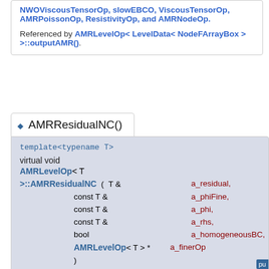NWOViscousTensorOp, slowEBCO, ViscousTensorOp, AMRPoissonOp, ResistivityOp, and AMRNodeOp. Referenced by AMRLevelOp< LevelData< NodeFArrayBox > >::outputAMR().
AMRResidualNC()
template<typename T>
virtual void AMRLevelOp< T >::AMRResidualNC ( T & a_residual, const T & a_phiFine, const T & a_phi, const T & a_rhs, bool a_homogeneousBC, AMRLevelOp< T > * a_finerOp )